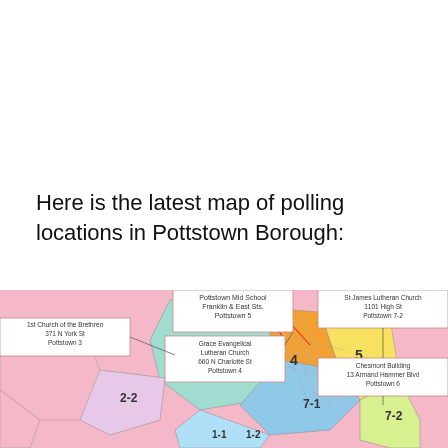Here is the latest map of polling locations in Pottstown Borough:
[Figure (map): A colored precinct/ward map of Pottstown Borough showing polling locations. Districts are labeled 1-1, 1-2, 2-2, 3, 4, 5, 7-1, 7-2 in different colors (pink, teal, orange, yellow, blue, light green). Callout boxes identify polling locations: 1st Church of the Brethren 371 N York St Pottstown 3; Pottstown Mid School Franklin & East Sts. Pottstown 5; Grace Evangelical Lutheran Church 660 N Charlotte St Pottstown 4; St James Lutheran Church 1101 High St Pottstown 7-2; Chesmont Building 13 Armand Hammer Blvd Pottstown 6.]